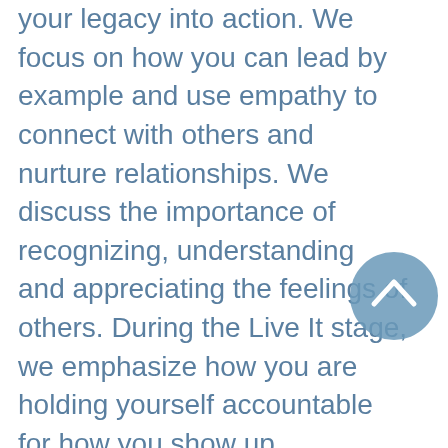your legacy into action. We focus on how you can lead by example and use empathy to connect with others and nurture relationships. We discuss the importance of recognizing, understanding and appreciating the feelings of others. During the Live It stage, we emphasize how you are holding yourself accountable for how you show up.

My Coaching Model is just that – a model, or a framework on which we base a deep dive discussion about you, your goals, your potential, and any obstacles in your path. I created it to help guide our conversations and ensure we remain on track to